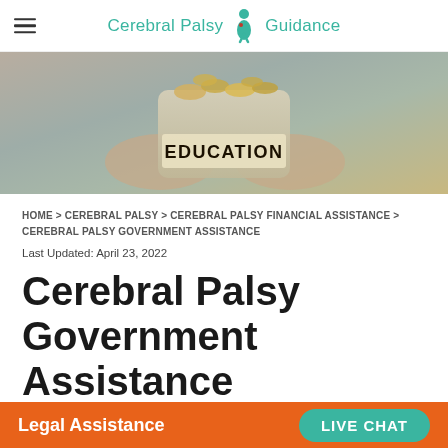Cerebral Palsy Guidance
[Figure (photo): Hands holding a glass jar filled with coins labeled EDUCATION]
HOME > CEREBRAL PALSY > CEREBRAL PALSY FINANCIAL ASSISTANCE > CEREBRAL PALSY GOVERNMENT ASSISTANCE
Last Updated: April 23, 2022
Cerebral Palsy Government Assistance
Page Written by Robert Wharton, Esquire
Legal Assistance   LIVE CHAT